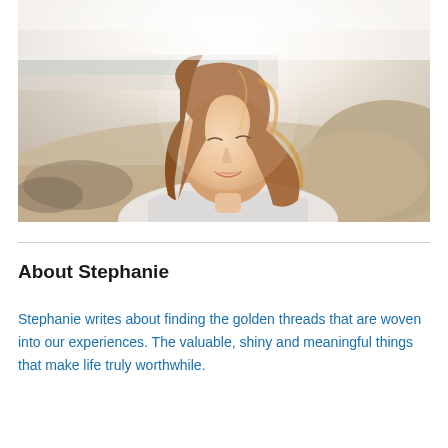[Figure (photo): A woman with long auburn/brown hair smiling, photographed outdoors at a beach with sand and ocean in the background. She is wearing a light-colored top. The photo has a bright, slightly overexposed look.]
About Stephanie
Stephanie writes about finding the golden threads that are woven into our experiences. The valuable, shiny and meaningful things that make life truly worthwhile.